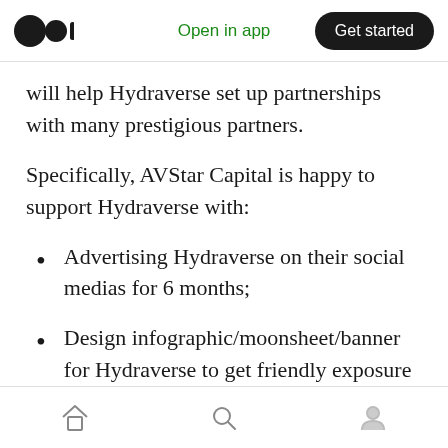Open in app | Get started
will help Hydraverse set up partnerships with many prestigious partners.
Specifically, AVStar Capital is happy to support Hydraverse with:
Advertising Hydraverse on their social medias for 6 months;
Design infographic/moonsheet/banner for Hydraverse to get friendly exposure to our community;
Indonesian community building;
Home | Search | Profile